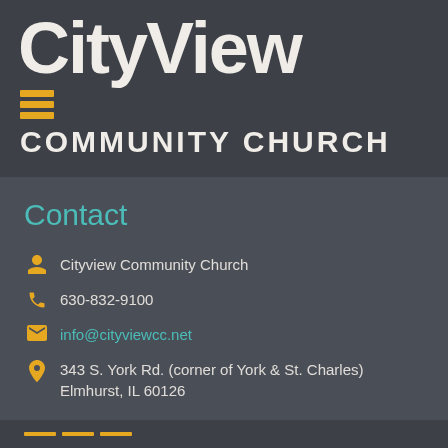Cityview
COMMUNITY CHURCH
Contact
Cityview Community Church
630-832-9100
info@cityviewcc.net
343 S. York Rd. (corner of York & St. Charles) Elmhurst, IL 60126